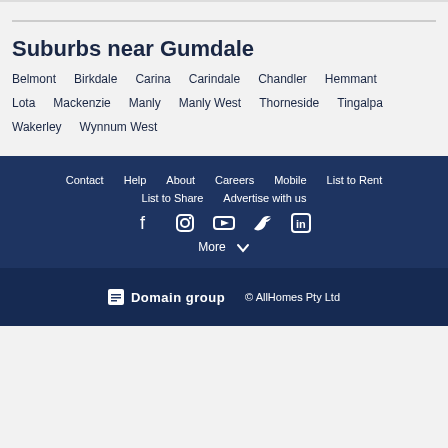Suburbs near Gumdale
Belmont
Birkdale
Carina
Carindale
Chandler
Hemmant
Lota
Mackenzie
Manly
Manly West
Thorneside
Tingalpa
Wakerley
Wynnum West
Contact  Help  About  Careers  Mobile  List to Rent  List to Share  Advertise with us  More
Domain group  © AllHomes Pty Ltd